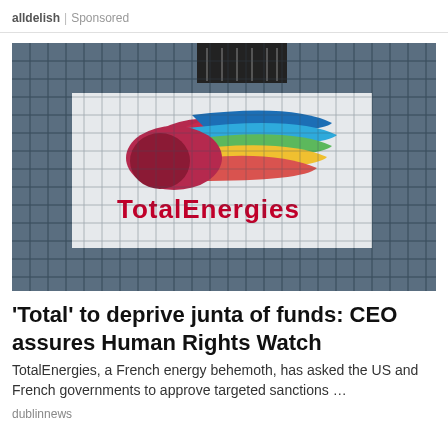alldelish | Sponsored
[Figure (photo): TotalEnergies logo displayed on a glass-tile building facade. The logo features multicolored horizontal stripes (red, pink, green, yellow, blue) with the TotalEnergies wordmark in red letters below the icon.]
'Total' to deprive junta of funds: CEO assures Human Rights Watch
TotalEnergies, a French energy behemoth, has asked the US and French governments to approve targeted sanctions …
dublinnews